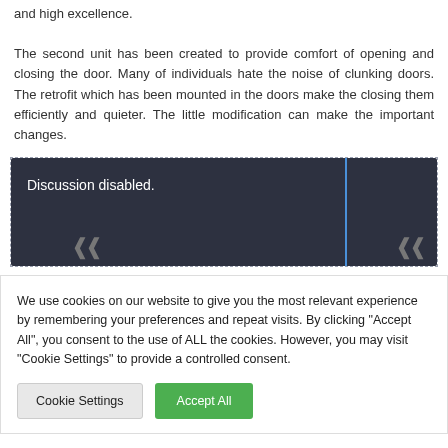and high excellence. The second unit has been created to provide comfort of opening and closing the door. Many of individuals hate the noise of clunking doors. The retrofit which has been mounted in the doors make the closing them efficiently and quieter. The little modification can make the important changes.
[Figure (other): Dark banner with text 'Discussion disabled.' and decorative corner marks, with a blue vertical line on the right side.]
We use cookies on our website to give you the most relevant experience by remembering your preferences and repeat visits. By clicking "Accept All", you consent to the use of ALL the cookies. However, you may visit "Cookie Settings" to provide a controlled consent.